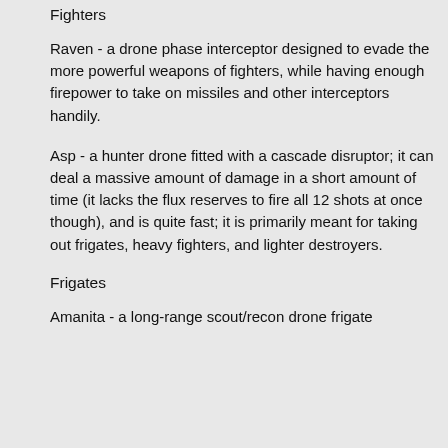Fighters
Raven - a drone phase interceptor designed to evade the more powerful weapons of fighters, while having enough firepower to take on missiles and other interceptors handily.
Asp - a hunter drone fitted with a cascade disruptor; it can deal a massive amount of damage in a short amount of time (it lacks the flux reserves to fire all 12 shots at once though), and is quite fast; it is primarily meant for taking out frigates, heavy fighters, and lighter destroyers.
Frigates
Amanita - a long-range scout/recon drone frigate